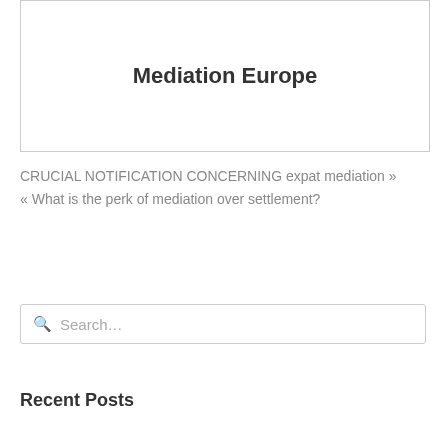Mediation Europe
CRUCIAL NOTIFICATION CONCERNING expat mediation »
« What is the perk of mediation over settlement?
Search...
Recent Posts